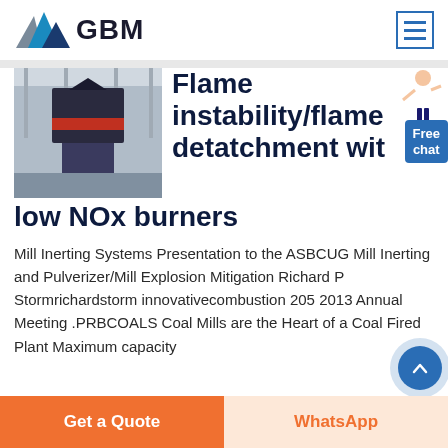[Figure (logo): GBM logo with blue/gray mountain triangles and bold black GBM text]
[Figure (photo): Industrial machinery/burner equipment in a factory setting]
Flame instability/flame detatchment with low NOx burners
Mill Inerting Systems Presentation to the ASBCUG Mill Inerting and Pulverizer/Mill Explosion Mitigation Richard P Stormrichardstorm innovativecombustion 205 2013 Annual Meeting .PRBCOALS Coal Mills are the Heart of a Coal Fired Plant Maximum capacity
[Figure (illustration): Woman character pointing, used as chat widget illustration]
Free chat
Get a Quote
WhatsApp